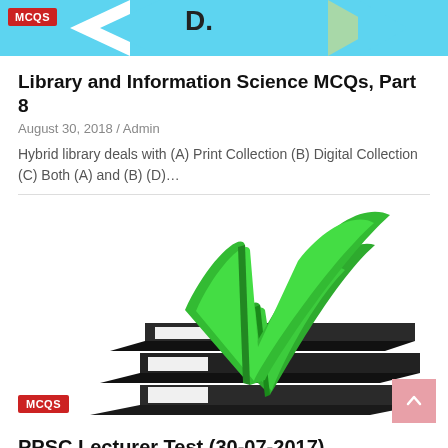[Figure (illustration): Website header banner with cyan/teal background, MCQS badge in red, left-pointing arrow shapes, a bold letter D with dot, and right-pointing arrow shapes in green/teal on the right side.]
Library and Information Science MCQs, Part 8
August 30, 2018 / Admin
Hybrid library deals with (A) Print Collection (B) Digital Collection (C) Both (A) and (B) (D)…
[Figure (photo): 3D illustration of a checklist clipboard with three checkboxes, the top one checked with a large green checkmark. A small MCQS badge in red appears at the bottom left of the image.]
PPSC Lecturer Test (30-07-2017)